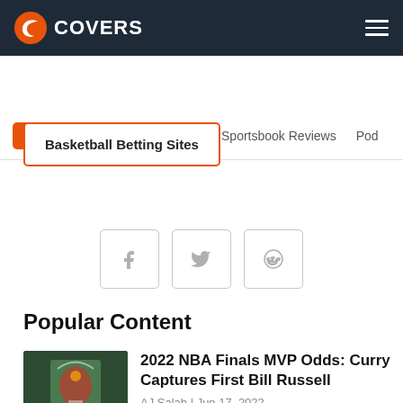COVERS
Betting News | How To Bet | Sportsbook Reviews | Pod
Basketball Betting Sites
[Figure (other): Social share buttons: Facebook, Twitter, Reddit]
Popular Content
[Figure (photo): Thumbnail image of NBA Finals celebration]
2022 NBA Finals MVP Odds: Curry Captures First Bill Russell
AJ Salah | Jun 17, 2022